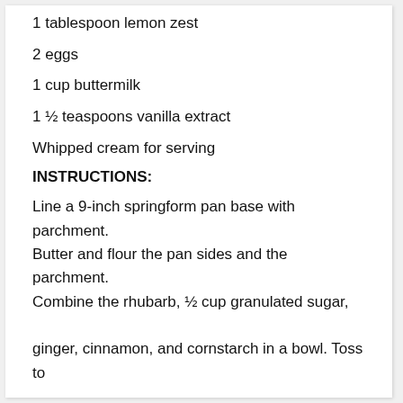1 tablespoon lemon zest
2 eggs
1 ½ teaspoons vanilla extract
Whipped cream for serving
INSTRUCTIONS:
Line a 9-inch springform pan base with parchment. Butter and flour the pan sides and the parchment. Combine the rhubarb, ½ cup granulated sugar, ginger, cinnamon, and cornstarch in a bowl. Toss to coat; set aside.
Preheat the oven to 350˚ F.
Whisk together the flours, baking powder, baking soda, and salt in a medium mixing bowl.